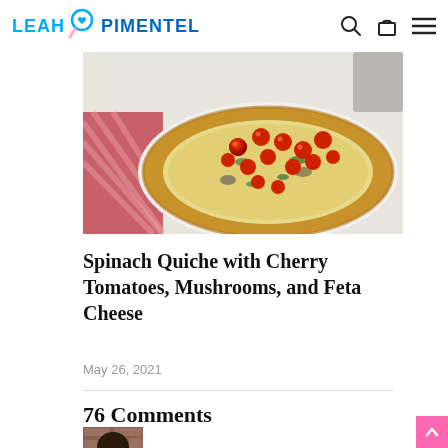LEAH PIMENTEL
[Figure (photo): A spinach quiche topped with cherry tomatoes in a pie dish, photographed from above. A pink striped cloth napkin is visible on the left side.]
Spinach Quiche with Cherry Tomatoes, Mushrooms, and Feta Cheese
May 26, 2021
76 Comments
[Figure (photo): A person's photo/avatar thumbnail showing someone with dark hair against a brick wall background.]